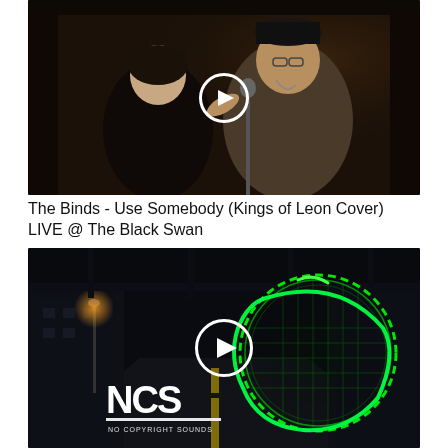[Figure (screenshot): Video thumbnail showing two men performing live, one singing into a microphone. A white play button circle overlay is centered on the image. Dark concert venue background.]
The Binds - Use Somebody (Kings of Leon Cover) LIVE @ The Black Swan
[Figure (screenshot): Video thumbnail showing a dark urban street scene at night with a glowing green circular energy orb. NCS logo is shown in the lower left, and a white play button circle is centered on the image.]